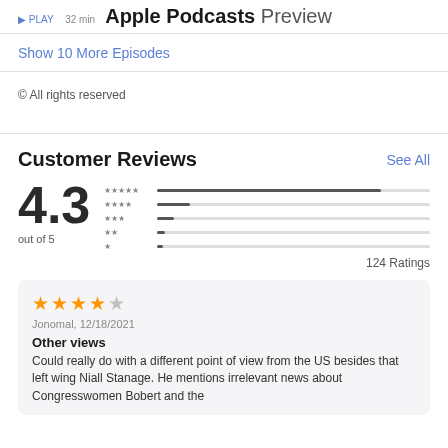Apple Podcasts Preview
Show 10 More Episodes
© All rights reserved
Customer Reviews
4.3 out of 5
124 Ratings
Jonomal, 12/18/2021
Other views
Could really do with a different point of view from the US besides that left wing Niall Stanage. He mentions irrelevant news about Congresswomen Bobert and the